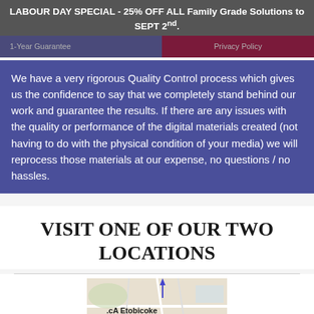LABOUR DAY SPECIAL - 25% OFF ALL Family Grade Solutions to SEPT 2nd.
1-Year Guarantee    Privacy Policy
We have a very rigorous Quality Control process which gives us the confidence to say that we completely stand behind our work and guarantee the results. If there are any issues with the quality or performance of the digital materials created (not having to do with the physical condition of your media) we will reprocess those materials at our expense, no questions / no hassles.
VISIT ONE OF OUR TWO LOCATIONS
[Figure (map): Partial map showing Etobicoke area with a location marker]